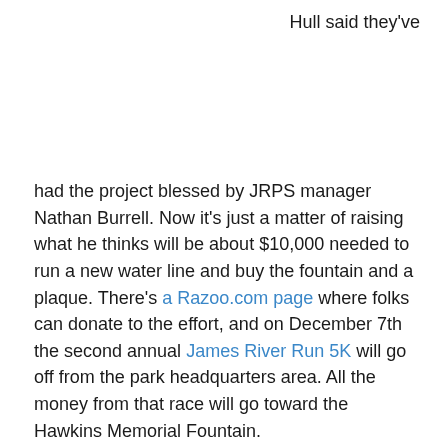Hull said they've
had the project blessed by JRPS manager Nathan Burrell. Now it's just a matter of raising what he thinks will be about $10,000 needed to run a new water line and buy the fountain and a plaque. There's a Razoo.com page where folks can donate to the effort, and on December 7th the second annual James River Run 5K will go off from the park headquarters area. All the money from that race will go toward the Hawkins Memorial Fountain.
The goal is to have the fountain installed by the end of the year.
“This really celebrates Greg Hawkins many contributions to the park,” Hull said. “He was always doing something in the park.”